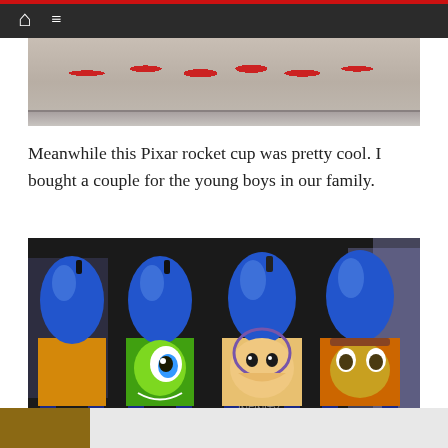Navigation bar with home and menu icons
[Figure (photo): Top portion of a photo showing red balloon decorations on a shelf with a gray/beige background]
Meanwhile this Pixar rocket cup was pretty cool. I bought a couple for the young boys in our family.
[Figure (photo): Four Pixar-themed rocket-shaped cups displayed on a shelf. Each blue rocket cup features a different Pixar character: Mater from Cars, Mike Wazowski from Monsters Inc., Buzz Lightyear from Toy Story, and Mater again from Cars. The cups have blue rocket tops, character image wraps in the middle, and blue rocket fin bases.]